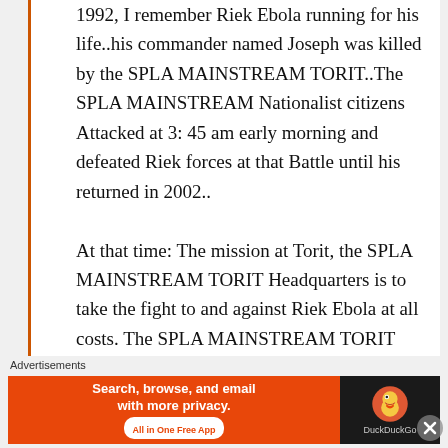1992, I remember Riek Ebola running for his life..his commander named Joseph was killed by the SPLA MAINSTREAM TORIT..The SPLA MAINSTREAM Nationalist citizens Attacked at 3: 45 am early morning and defeated Riek forces at that Battle until his returned in 2002..

At that time: The mission at Torit, the SPLA MAINSTREAM TORIT Headquarters is to take the fight to and against Riek Ebola at all costs. The SPLA MAINSTREAM TORIT stayed in Riek Ebola home villages and
Advertisements
[Figure (infographic): DuckDuckGo advertisement banner: orange left panel with text 'Search, browse, and email with more privacy.' and 'All in One Free App' pill button; dark right panel with DuckDuckGo duck logo and 'DuckDuckGo' text]